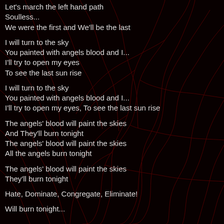Let's march the left hand path
Soulless...
We were the first and We'll be the last
I will turn to the sky
You painted with angels blood and I...
I'll try to open my eyes
To see the last sun rise
I will turn to the sky
You painted with angels blood and I...
I'll try to open my eyes, To see the last sun rise
The angels' blood will paint the skies
And They'll burn tonight
The angels' blood will paint the skies
All the angels burn tonight
The angels' blood will paint the skies
They'll burn tonight
Hate, Dominate, Congregate, Eliminate!
Will burn tonight...